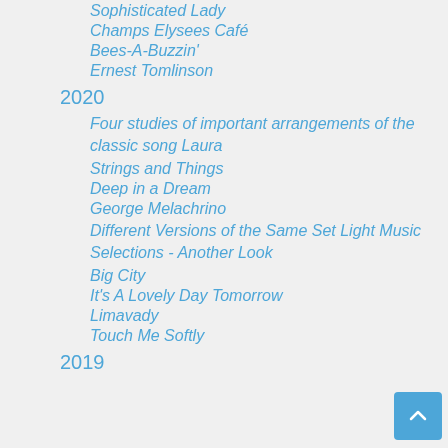Sophisticated Lady
Champs Elysees Café
Bees-A-Buzzin'
Ernest Tomlinson
2020
Four studies of important arrangements of the classic song Laura
Strings and Things
Deep in a Dream
George Melachrino
Different Versions of the Same Set Light Music Selections - Another Look
Big City
It's A Lovely Day Tomorrow
Limavady
Touch Me Softly
2019